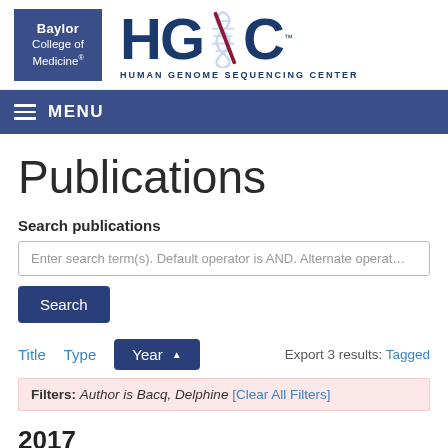[Figure (logo): Baylor College of Medicine and HGSC (Human Genome Sequencing Center) logo header]
MENU
Publications
Search publications
Enter search term(s). Default operator is AND. Alternate operate
Search
Title  Type  Year▲  Export 3 results: Tagged
Filters: Author is Bacq, Delphine [Clear All Filters]
2017